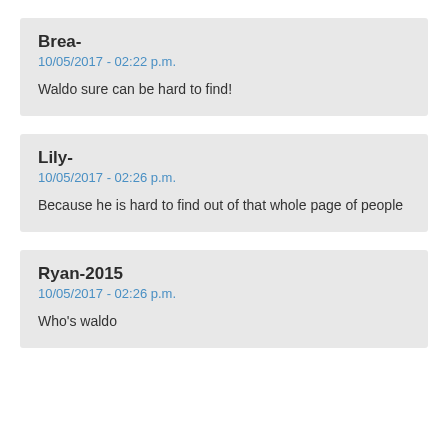Brea-
10/05/2017 - 02:22 p.m.

Waldo sure can be hard to find!
Lily-
10/05/2017 - 02:26 p.m.

Because he is hard to find out of that whole page of people
Ryan-2015
10/05/2017 - 02:26 p.m.

Who's waldo